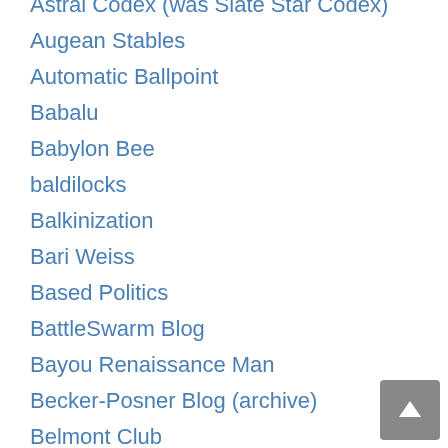Astral Codex (was Slate Star Codex)
Augean Stables
Automatic Ballpoint
Babalu
Babylon Bee
baldilocks
Balkinization
Bari Weiss
Based Politics
BattleSwarm Blog
Bayou Renaissance Man
Becker-Posner Blog (archive)
Belmont Club
Belmont Club (archive)